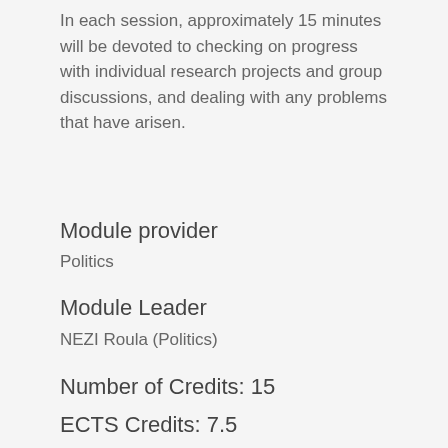In each session, approximately 15 minutes will be devoted to checking on progress with individual research projects and group discussions, and dealing with any problems that have arisen.
Module provider
Politics
Module Leader
NEZI Roula (Politics)
Number of Credits: 15
ECTS Credits: 7.5